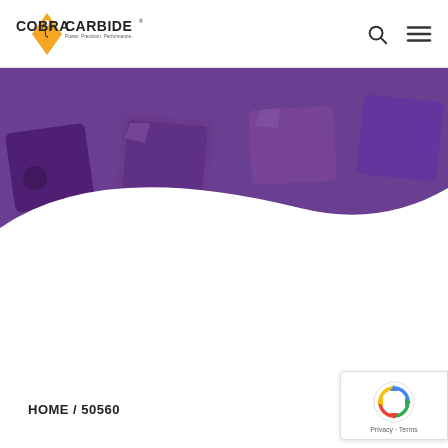COBRA CARBIDE - Power. Precision. Performance.
[Figure (photo): Purple-toned hero image showing carbide cutting tool inserts with a white curved sweep in the lower portion]
HOME / 50560